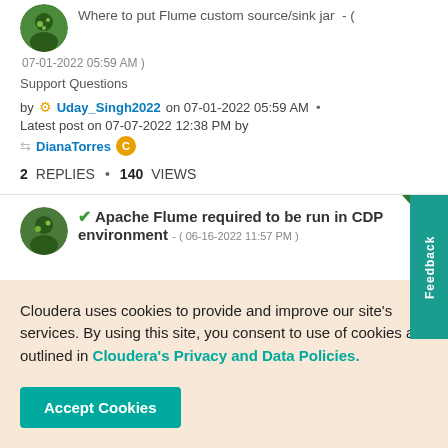Where to put Flume custom source/sink jar - ( 07-01-2022 05:59 AM )
Support Questions
by Uday_Singh2022 on 07-01-2022 05:59 AM · Latest post on 07-07-2022 12:38 PM by DianaTorres
2 REPLIES * 140 VIEWS
Apache Flume required to be run in CDP environment - ( 06-16-2022 11:57 PM )
Cloudera uses cookies to provide and improve our site's services. By using this site, you consent to use of cookies as outlined in Cloudera's Privacy and Data Policies.
Accept Cookies